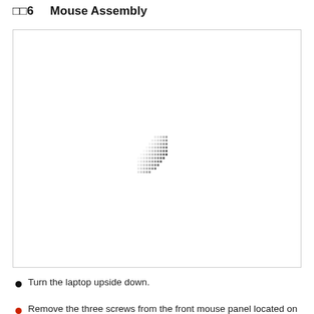6   Mouse Assembly
[Figure (illustration): Large bordered rectangle containing a faint dotted/pixelated pattern in the center, representing a mouse assembly diagram placeholder.]
Turn the laptop upside down.
Remove the three screws from the front mouse panel located on the bottom of the laptop.